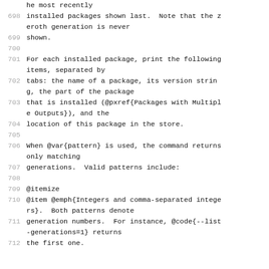698: installed packages shown last.  Note that the zeroth generation is never
699: shown.
700:
701: For each installed package, print the following items, separated by
702: tabs: the name of a package, its version string, the part of the package
703: that is installed (@pxref{Packages with Multiple Outputs}), and the
704: location of this package in the store.
705:
706: When @var{pattern} is used, the command returns only matching
707: generations.  Valid patterns include:
708:
709: @itemize
710: @item @emph{Integers and comma-separated integers}.  Both patterns denote
711: generation numbers.  For instance, @code{--list-generations=1} returns
712: the first one.